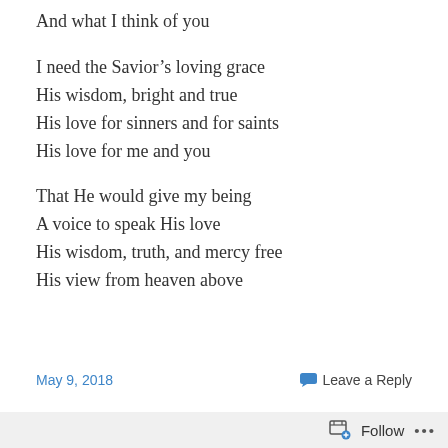And what I think of you
I need the Savior's loving grace
His wisdom, bright and true
His love for sinners and for saints
His love for me and you
That He would give my being
A voice to speak His love
His wisdom, truth, and mercy free
His view from heaven above
May 9, 2018
Leave a Reply
Present Savior
Follow ...